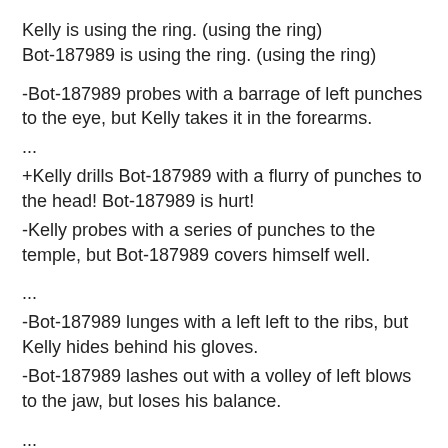Kelly is using the ring. (using the ring)
Bot-187989 is using the ring. (using the ring)
-Bot-187989 probes with a barrage of left punches to the eye, but Kelly takes it in the forearms.
...
+Kelly drills Bot-187989 with a flurry of punches to the head! Bot-187989 is hurt!
-Kelly probes with a series of punches to the temple, but Bot-187989 covers himself well.
...
-Bot-187989 lunges with a left left to the ribs, but Kelly hides behind his gloves.
-Bot-187989 lashes out with a volley of left blows to the jaw, but loses his balance.
...
...
-Bot-187989 throws a jab to the head, but loses his balance.